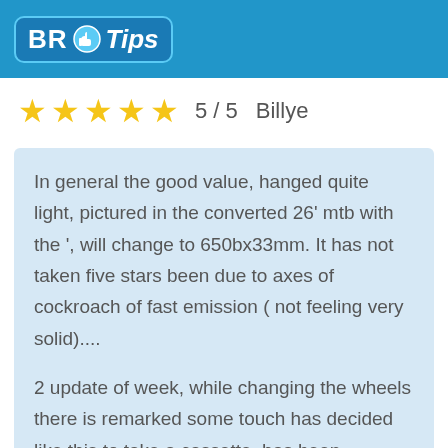BR Tips
5 / 5   Billye
In general the good value, hanged quite light, pictured in the converted 26' mtb with the ', will change to 650bx33mm. It has not taken five stars been due to axes of cockroach of fast emission ( not feeling very solid)....
2 update of week, while changing the wheels there is remarked some touch has decided like this to take a cassette, has been surprised when has take a wry plus and a hub the organism is fallen off. The message has sent to vendor to do